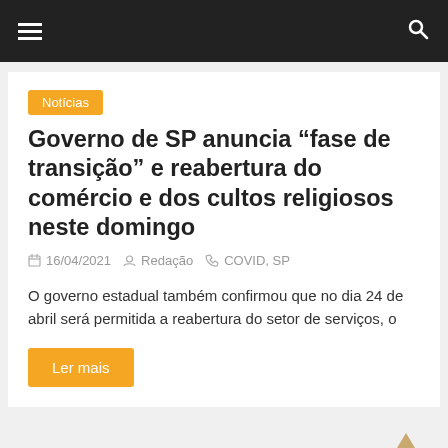≡  🔍
Notícias
Governo de SP anuncia “fase de transição” e reabertura do comércio e dos cultos religiosos neste domingo
16/04/2021  Redação  COVID, SP
O governo estadual também confirmou que no dia 24 de abril será permitida a reabertura do setor de serviços, o
Ler mais